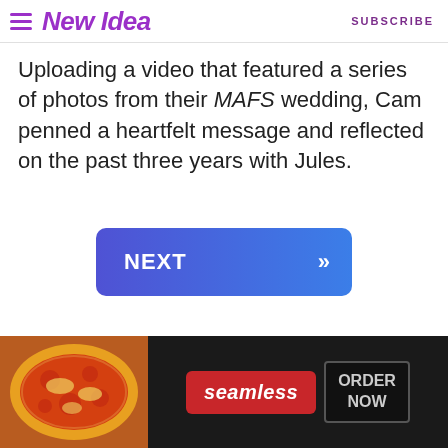New Idea | SUBSCRIBE
Uploading a video that featured a series of photos from their MAFS wedding, Cam penned a heartfelt message and reflected on the past three years with Jules.
[Figure (other): A blue gradient 'NEXT »' navigation button]
on Newz Online
[Figure (other): Seamless food delivery advertisement banner with pizza photo, seamless logo and ORDER NOW button]